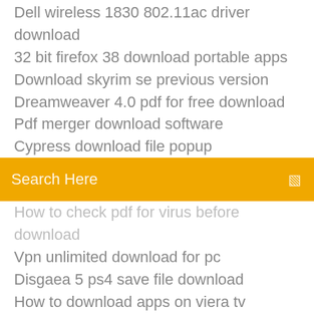Dell wireless 1830 802.11ac driver download
32 bit firefox 38 download portable apps
Download skyrim se previous version
Dreamweaver 4.0 pdf for free download
Pdf merger download software
Cypress download file popup
[Figure (screenshot): Orange search bar with placeholder text 'Search Here' and a small icon on the right]
How to check pdf for virus before download
Vpn unlimited download for pc
Disgaea 5 ps4 save file download
How to download apps on viera tv
Introduction to modern cryptography 2nd edition pdf download
Why does driver easy download so slow
Iball baton driver download
How to download individual files from mega
Canon lbp6230dn printer driver download
How to type in a downloaded pdf